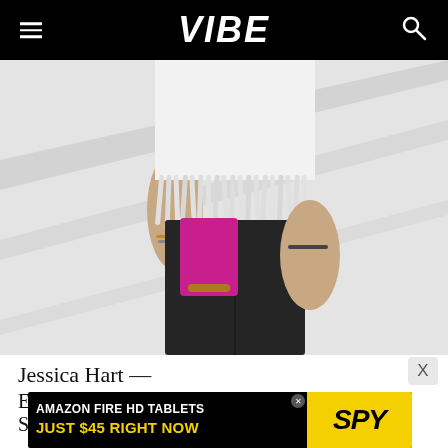VIBE
[Figure (photo): A woman wearing a white fringed crop top and dark leather pants, holding a pink clutch bag, photographed against a white background.]
Jessica Hart —
Everybody's favorite Sports Illustrated Swimsuit
[Figure (infographic): Advertisement banner: AMAZON FIRE HD TABLETS JUST $45 RIGHT NOW — SPY]